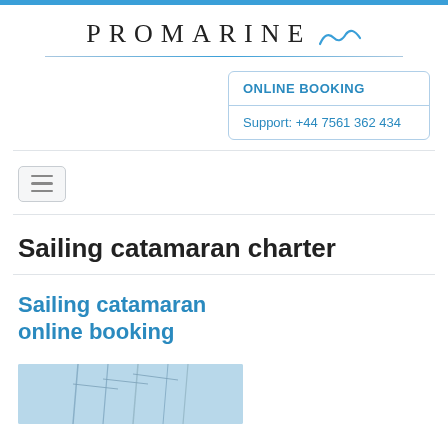[Figure (logo): PROMARINE logo with wave graphic and horizontal decorative line]
ONLINE BOOKING
Support: +44 7561 362 434
[Figure (other): Hamburger menu button with three horizontal lines]
Sailing catamaran charter
Sailing catamaran online booking
[Figure (photo): Photo of sailing catamaran masts against blue sky]